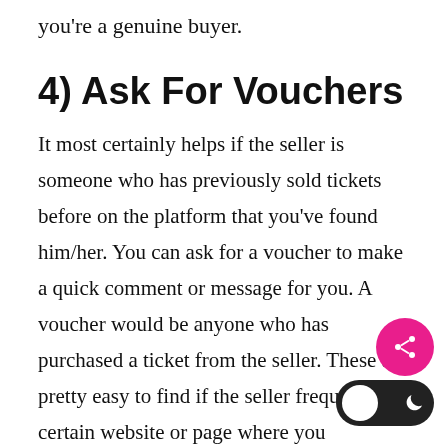you're a genuine buyer.
4) Ask For Vouchers
It most certainly helps if the seller is someone who has previously sold tickets before on the platform that you've found him/her. You can ask for a voucher to make a quick comment or message for you. A voucher would be anyone who has purchased a ticket from the seller. These are pretty easy to find if the seller frequents a certain website or page where you originally found him, like fan pages or Facebook groups.